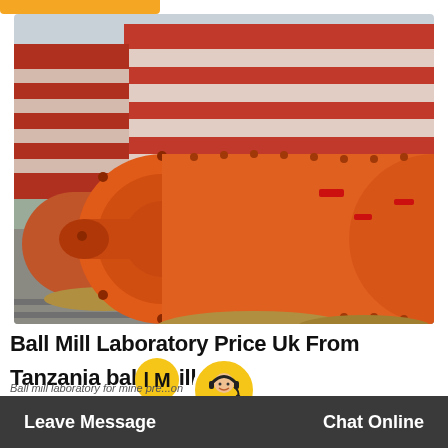[Figure (photo): Large orange industrial ball mill cylinder lying horizontally on a factory floor, with a red and white industrial building in the background.]
Ball Mill Laboratory Price Uk From Tanzania ball Mill
Ball mill laboratory for mine pre...on
Leave Message   Chat Online